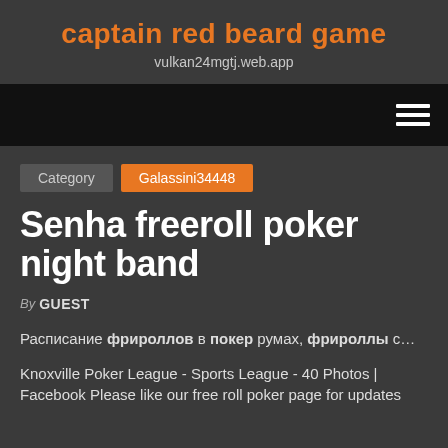captain red beard game
vulkan24mgtj.web.app
Category  Galassini34448
Senha freeroll poker night band
By GUEST
Расписание фрироллов в покер румах, фрироллы с...
Knoxville Poker League - Sports League - 40 Photos | Facebook Please like our free roll poker page for updates